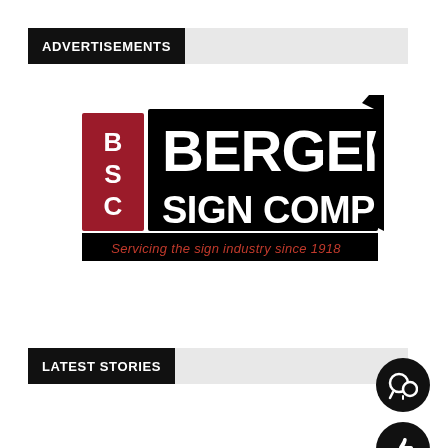ADVERTISEMENTS
[Figure (logo): Bergen Sign Company logo: BSC initials in red rectangle on left, 'BERGEN SIGN COMPANY' in large bold black text, tagline 'Servicing the sign industry since 1918' in red on black bar at bottom]
LATEST STORIES